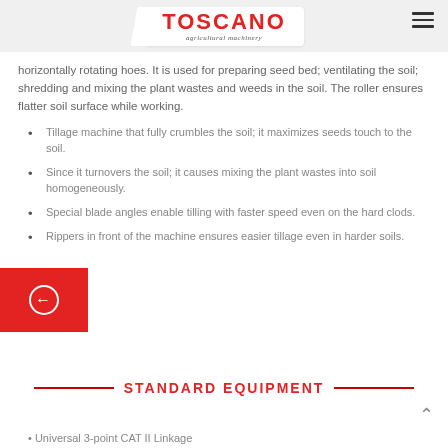TOSCANO agricultural machinery
horizontally rotating hoes. It is used for preparing seed bed; ventilating the soil; shredding and mixing the plant wastes and weeds in the soil. The roller ensures flatter soil surface while working.
Tillage machine that fully crumbles the soil; it maximizes seeds touch to the soil.
Since it turnovers the soil; it causes mixing the plant wastes into soil homogeneously.
Special blade angles enable tilling with faster speed even on the hard clods.
Rippers in front of the machine ensures easier tillage even in harder soils.
STANDARD EQUIPMENT
Universal 3-point CAT II Linkage